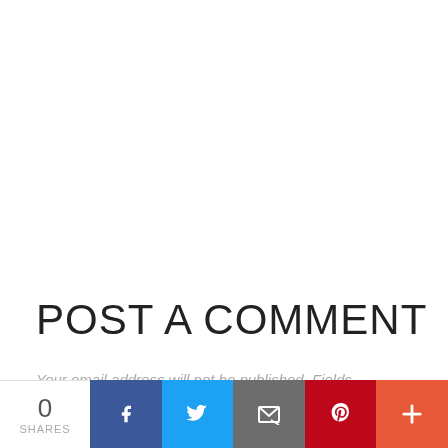POST A COMMENT
Your email address will not be published. Fields marked with * are required.
0 SHARES | Share on Facebook | Share on Twitter | Share via Email | Share on Pinterest | More